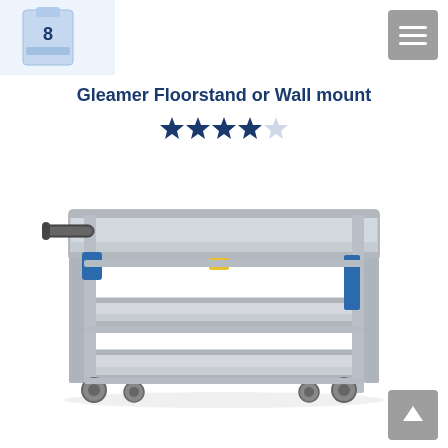[Figure (photo): Small thumbnail image of a cleaning product bottle in top-left corner]
Gleamer Floorstand or Wall mount
[Figure (other): 4.5 out of 5 star rating shown with filled and half-filled dark blue stars]
[Figure (photo): A three-shelf stainless steel utility cart with blue accents and wheel casters, shown in three-quarter perspective view]
[Figure (other): Gray scroll-up navigation button in bottom right corner]
[Figure (other): Gray hamburger menu button in top right corner]